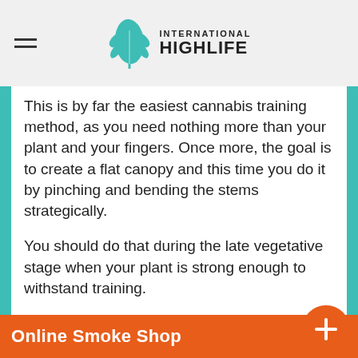International Highlife
This is by far the easiest cannabis training method, as you need nothing more than your plant and your fingers. Once more, the goal is to create a flat canopy and this time you do it by pinching and bending the stems strategically.
You should do that during the late vegetative stage when your plant is strong enough to withstand training.
How to Super Crop Marijuana
The philosophy behind super cropping is so slightly, so it can regenerate even stronger. Choose stems